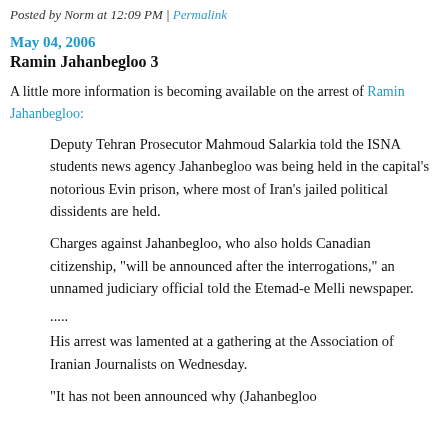Posted by Norm at 12:09 PM | Permalink
May 04, 2006
Ramin Jahanbegloo 3
A little more information is becoming available on the arrest of Ramin Jahanbegloo:
Deputy Tehran Prosecutor Mahmoud Salarkia told the ISNA students news agency Jahanbegloo was being held in the capital's notorious Evin prison, where most of Iran's jailed political dissidents are held.
Charges against Jahanbegloo, who also holds Canadian citizenship, "will be announced after the interrogations," an unnamed judiciary official told the Etemad-e Melli newspaper.
.....
His arrest was lamented at a gathering at the Association of Iranian Journalists on Wednesday.
"It has not been announced why (Jahanbegloo